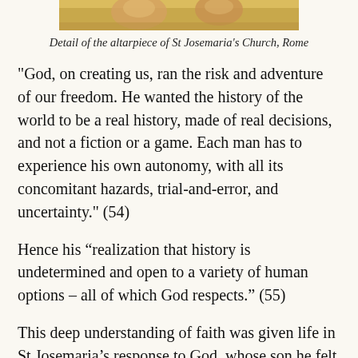[Figure (photo): Detail of the altarpiece of St Josemaria's Church, Rome — partial image visible at top of page showing faces]
Detail of the altarpiece of St Josemaria's Church, Rome
"God, on creating us, ran the risk and adventure of our freedom. He wanted the history of the world to be a real history, made of real decisions, and not a fiction or a game. Each man has to experience his own autonomy, with all its concomitant hazards, trial-and-error, and uncertainty." (54)
Hence his “realization that history is undetermined and open to a variety of human options – all of which God respects.” (55)
This deep understanding of faith was given life in St Josemaria’s response to God, whose son he felt himself to be, to the point of becoming the father of